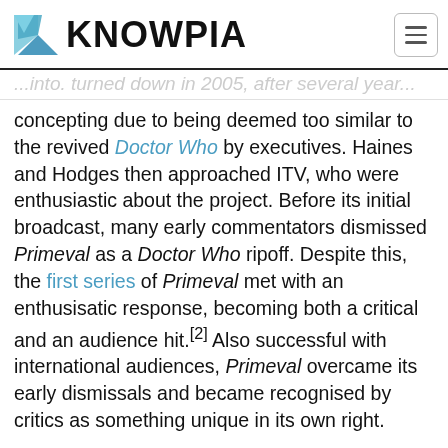KNOWPIA
concepting due to being deemed too similar to the revived Doctor Who by executives. Haines and Hodges then approached ITV, who were enthusiastic about the project. Before its initial broadcast, many early commentators dismissed Primeval as a Doctor Who ripoff. Despite this, the first series of Primeval met with an enthusisatic response, becoming both a critical and an audience hit.[2] Also successful with international audiences, Primeval overcame its early dismissals and became recognised by critics as something unique in its own right.
Though the second series met with a somewhat more lukewarm reception, Primeval's third series received high praise from critics as its strongest outing yet. Despite maintaining good ratings, Primeval's...